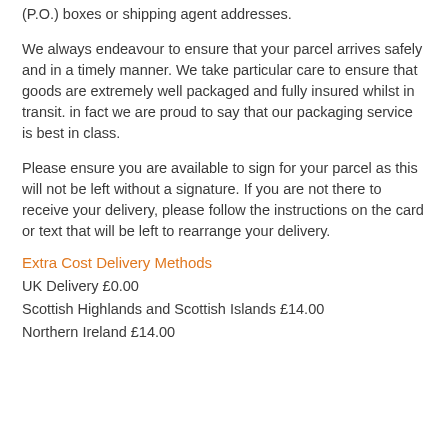(P.O.) boxes or shipping agent addresses.
We always endeavour to ensure that your parcel arrives safely and in a timely manner. We take particular care to ensure that goods are extremely well packaged and fully insured whilst in transit. in fact we are proud to say that our packaging service is best in class.
Please ensure you are available to sign for your parcel as this will not be left without a signature. If you are not there to receive your delivery, please follow the instructions on the card or text that will be left to rearrange your delivery.
Extra Cost Delivery Methods
UK Delivery £0.00
Scottish Highlands and Scottish Islands £14.00
Northern Ireland £14.00